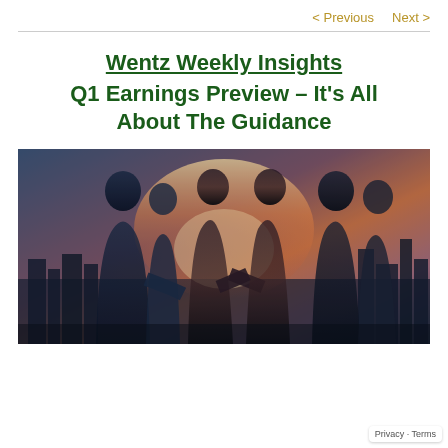< Previous   Next >
Wentz Weekly Insights Q1 Earnings Preview – It's All About The Guidance
[Figure (photo): Silhouettes of business professionals shaking hands against a glowing city skyline backdrop with dramatic light effects — a double-exposure style composite image]